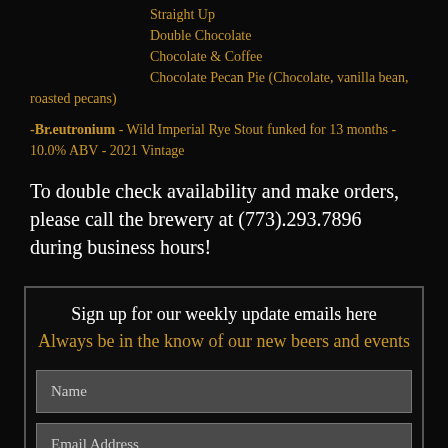Straight Up
Double Chocolate
Chocolate & Coffee
Chocolate Pecan Pie (Chocolate, vanilla bean, roasted pecans)
-Br.eutronium - Wild Imperial Rye Stout funked for 13 months - 10.0% ABV - 2021 Vintage
To double check availability and make orders, please call the brewery at (773).293.7896 during business hours!
Sign up for our weekly update emails here
Always be in the know of our new beers and events
Name
Email Address
Subscribe Now